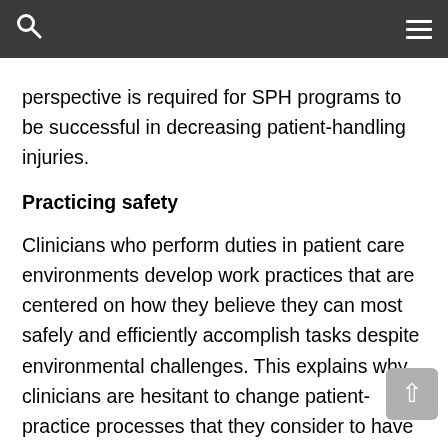perspective is required for SPH programs to be successful in decreasing patient-handling injuries.
Practicing safety
Clinicians who perform duties in patient care environments develop work practices that are centered on how they believe they can most safely and efficiently accomplish tasks despite environmental challenges. This explains why clinicians are hesitant to change patient-practice processes that they consider to have mastered. For example, when considering environmental workspace, clinicians have learned to avert injury risks by eliminating clutter for the purposes of preventing trip hazards all while being mindful of biological biohazards